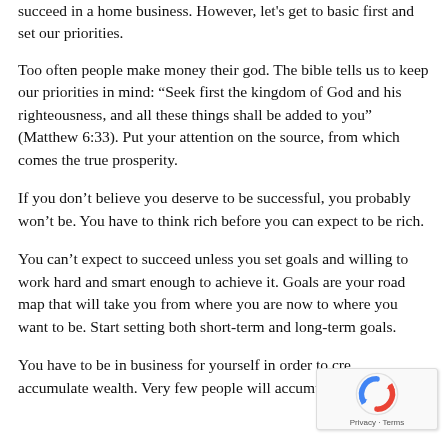succeed in a home business. However, let's get to basic first and set our priorities.
Too often people make money their god. The bible tells us to keep our priorities in mind: “Seek first the kingdom of God and his righteousness, and all these things shall be added to you” (Matthew 6:33). Put your attention on the source, from which comes the true prosperity.
If you don’t believe you deserve to be successful, you probably won’t be. You have to think rich before you can expect to be rich.
You can’t expect to succeed unless you set goals and willing to work hard and smart enough to achieve it. Goals are your road map that will take you from where you are now to where you want to be. Start setting both short-term and long-term goals.
You have to be in business for yourself in order to create and accumulate wealth. Very few people will accumulate large